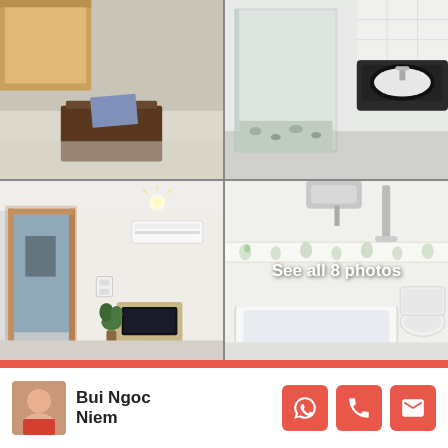[Figure (photo): Four-photo grid of apartment interior: top-left living room with wooden TV stand and marble floor, top-right bathroom with glass shower enclosure and dark countertop sink, bottom-left room with AC unit and wooden door frame, bottom-right bathroom with bathtub and toilet with floral tile border. 'See all 8 photos' overlay on bottom-right photo.]
See all 8 photos
Bui Ngoc Niem